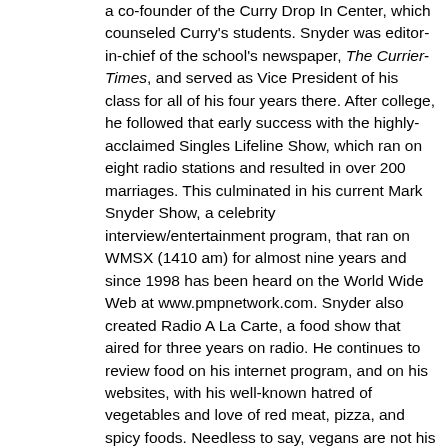a co-founder of the Curry Drop In Center, which counseled Curry's students. Snyder was editor-in-chief of the school's newspaper, The Currier-Times, and served as Vice President of his class for all of his four years there. After college, he followed that early success with the highly-acclaimed Singles Lifeline Show, which ran on eight radio stations and resulted in over 200 marriages. This culminated in his current Mark Snyder Show, a celebrity interview/entertainment program, that ran on WMSX (1410 am) for almost nine years and since 1998 has been heard on the World Wide Web at www.pmpnetwork.com. Snyder also created Radio A La Carte, a food show that aired for three years on radio. He continues to review food on his internet program, and on his websites, with his well-known hatred of vegetables and love of red meat, pizza, and spicy foods. Needless to say, vegans are not his biggest fans.
Snyder, a product of Curry College and Marquette University, is Founder & CEO of Professional Marketing & Promotions Company (PMPCO) and the CEO of PMPNetwork.com, the internet's entertainment superstation, which has recorded over 225 million "hits", and over 9 million unique visitors since its inception in 1998. His expertise in public relations, marketing and promotions dates back to his first position as Assistant Director of Public Relations and Sports Information at Curry College. Since then, Mark has handled public relations, copywriting, media placement, marketing and promotions for over 85 clients, including food establishments, law firms, medical practices, financial companies, game companies, political candidates, colleges, and even